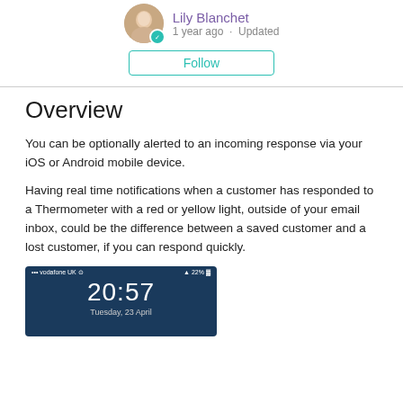Lily Blanchet · 1 year ago · Updated
Overview
You can be optionally alerted to an incoming response via your iOS or Android mobile device.
Having real time notifications when a customer has responded to a Thermometer with a red or yellow light, outside of your email inbox, could be the difference between a saved customer and a lost customer, if you can respond quickly.
[Figure (screenshot): Mobile phone lock screen showing time 20:57, Tuesday 23 April, with Vodafone UK carrier and 22% battery]